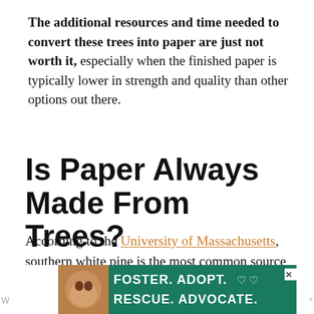The additional resources and time needed to convert these trees into paper are just not worth it, especially when the finished paper is typically lower in strength and quality than other options out there.
Is Paper Always Made From Trees?
According to the University of Massachusetts, southern white pine is the most common source of paper pulp in the United States.
[Figure (infographic): Advertisement banner with green background showing a dog photo and text: FOSTER. ADOPT. (heart symbols) RESCUE. ADVOCATE.]